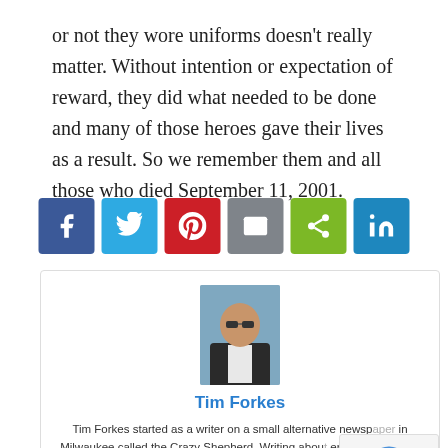or not they wore uniforms doesn't really matter. Without intention or expectation of reward, they did what needed to be done and many of those heroes gave their lives as a result. So we remember them and all those who died September 11, 2001.
[Figure (infographic): Social share buttons: Facebook, Twitter, Pinterest, Email, Share, LinkedIn]
[Figure (photo): Author photo of Tim Forkes, a bald man in a dark jacket standing outdoors]
Tim Forkes
Tim Forkes started as a writer on a small alternative newspaper in Milwaukee called the Crazy Shepherd. Writing about entertainment, he had the opportunity to speak with many people in show business, from the very famous to the people